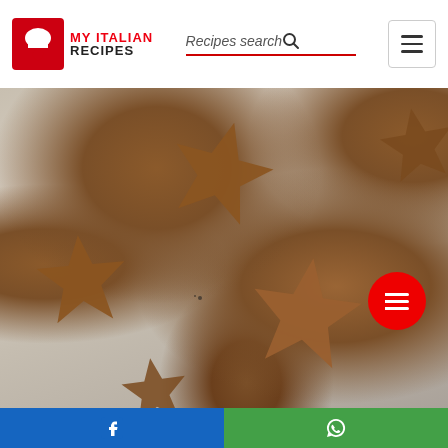My Italian Recipes — Recipes search
[Figure (photo): Close-up photo of star-shaped chocolate/brown cookie dough pieces on parchment paper dusted with flour]
[Figure (other): Red circular button with list/menu icon (white horizontal lines)]
[Figure (other): Bottom bar with two halves: blue (Facebook share) on left, green (WhatsApp share) on right]